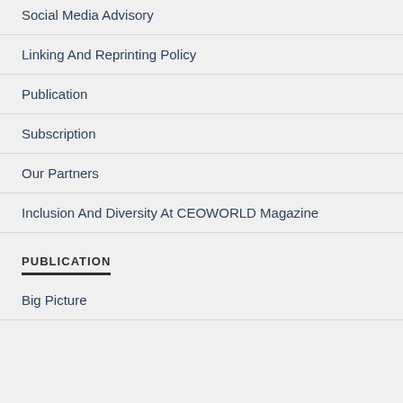Social Media Advisory
Linking And Reprinting Policy
Publication
Subscription
Our Partners
Inclusion And Diversity At CEOWORLD Magazine
PUBLICATION
Big Picture